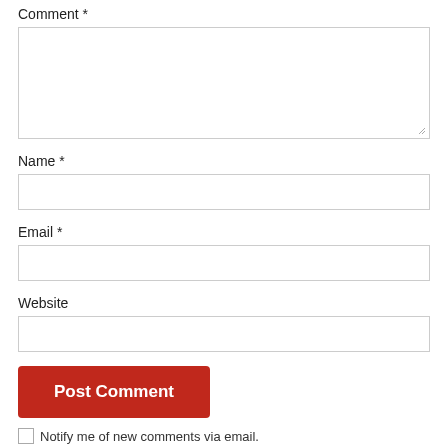Comment *
[Figure (screenshot): Comment textarea input field with resize handle]
Name *
[Figure (screenshot): Name text input field]
Email *
[Figure (screenshot): Email text input field]
Website
[Figure (screenshot): Website text input field]
Post Comment
Notify me of new comments via email.